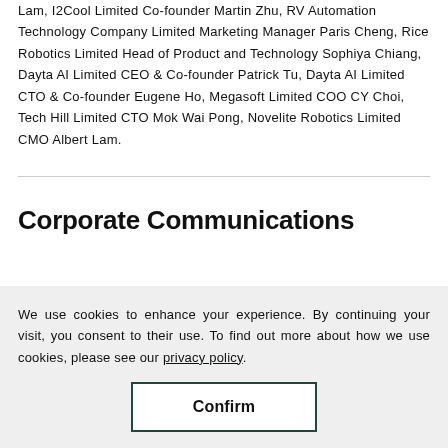Lam, I2Cool Limited Co-founder Martin Zhu, RV Automation Technology Company Limited Marketing Manager Paris Cheng, Rice Robotics Limited Head of Product and Technology Sophiya Chiang, Dayta AI Limited CEO & Co-founder Patrick Tu, Dayta AI Limited CTO & Co-founder Eugene Ho, Megasoft Limited COO CY Choi, Tech Hill Limited CTO Mok Wai Pong, Novelite Robotics Limited CMO Albert Lam.
Corporate Communications
We use cookies to enhance your experience. By continuing your visit, you consent to their use. To find out more about how we use cookies, please see our privacy policy.
Confirm